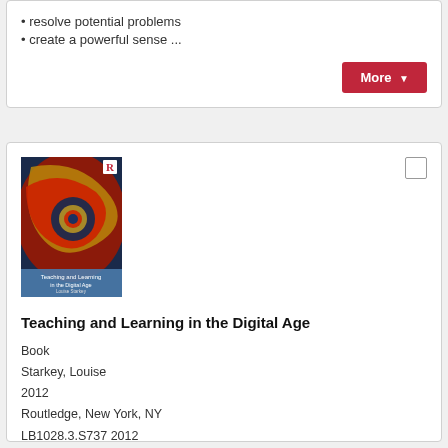resolve potential problems
create a powerful sense ...
[Figure (screenshot): Red 'More' button with dropdown arrow]
[Figure (photo): Book cover: Teaching and Learning in the Digital Age by Louise Starkey, with swirling colorful abstract design]
Teaching and Learning in the Digital Age
Book
Starkey, Louise
2012
Routledge, New York, NY
LB1028.3.S737 2012
Topics: Online Learning | Using Technology | Changes in Higher Education | Constructivist &